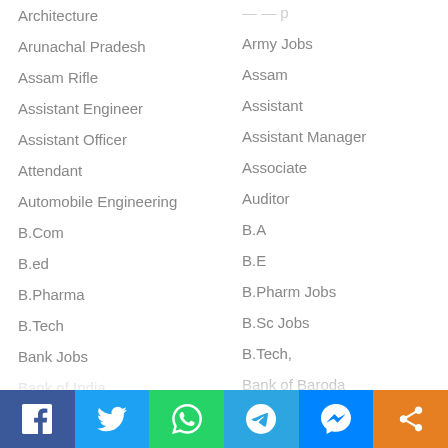Architecture
Army Jobs
Arunachal Pradesh
Assam
Assam Rifle
Assistant
Assistant Engineer
Assistant Manager
Assistant Officer
Associate
Attendant
Auditor
Automobile Engineering
B.A
B.Com
B.E
B.ed
B.Pharm Jobs
B.Pharma
B.Sc Jobs
B.Tech
B.Tech,
Bank Jobs
Bank of Baroda
Bank of India
Bank of India